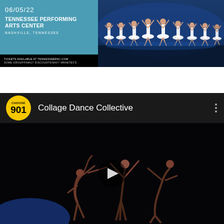[Figure (photo): Event promotional banner for Tennessee Performing Arts Center on 06/05/22 in Nashville, Tennessee. Left side shows teal/blue background with event details and ticket info. Right side shows ballet dancers performing in white tutus on stage.]
[Figure (screenshot): YouTube-style video embed for Collage Dance Collective. Dark header with Choose 901 circular logo in yellow, channel name 'Collage Dance Collective' in white text, three-dot menu. Below shows a dark stage photo of contemporary dancers performing together with a play button overlay.]